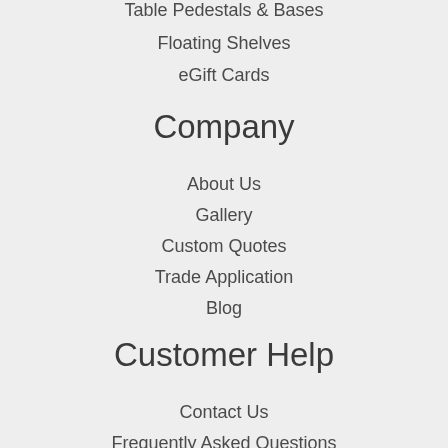Table Pedestals & Bases
Floating Shelves
eGift Cards
Company
About Us
Gallery
Custom Quotes
Trade Application
Blog
Customer Help
Contact Us
Frequently Asked Questions